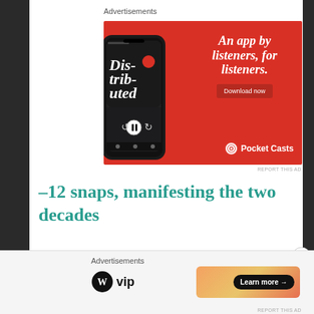Advertisements
[Figure (illustration): Pocket Casts advertisement on red background showing a smartphone with a podcast app, text 'An app by listeners, for listeners.' with a 'Download now' button and Pocket Casts logo.]
REPORT THIS AD
–12 snaps, manifesting the two decades
Advertisements
[Figure (illustration): WordPress VIP logo and a colorful gradient banner advertisement with a 'Learn more →' button.]